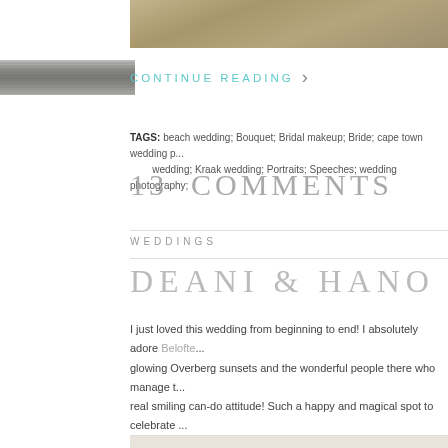[Figure (photo): Partial grass/landscape photo strip at top of page]
[Figure (photo): Decorative ribbon/bookmark element on left side]
CONTINUE READING >
TAGS: beach wedding; Bouquet; Bridal makeup; Bride; cape town wedding p... wedding; Kraak wedding; Portraits; Speeches; wedding photography;
13 COMMENTS
WEDDINGS
DEANI & HANO
I just loved this wedding from beginning to end! I absolutely adore Belofte... glowing Overberg sunsets and the wonderful people there who manage t... real smiling can-do attitude! Such a happy and magical spot to celebrate ... pick a rain free May day for their amazing wedding!! Deani looked like a p... have had a little of that lipstick on his own lips by the end of the day ;-) I l... through the photos as much as I loved being there to document their day